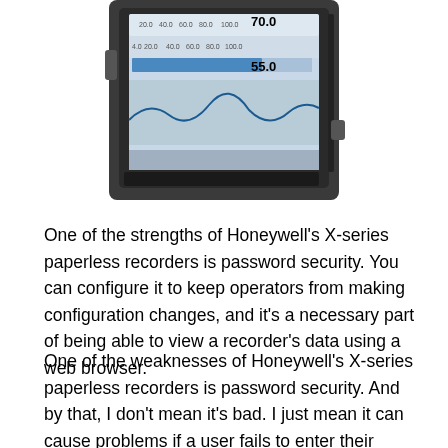[Figure (photo): Photo of a Honeywell X-series paperless recorder device, showing the front panel with a digital display screen showing values 70.0 and 55.0, with a dark grey/black enclosure body.]
One of the strengths of Honeywell's X-series paperless recorders is password security. You can configure it to keep operators from making configuration changes, and it's a necessary part of being able to view a recorder's data using a web browser.
One of the weaknesses of Honeywell's X-series paperless recorders is password security. And by that, I don't mean it's bad. I just mean it can cause problems if a user fails to enter their username and password right, and ends up locked out of the recorder.
So I'm guessing if you searched for the backdoor